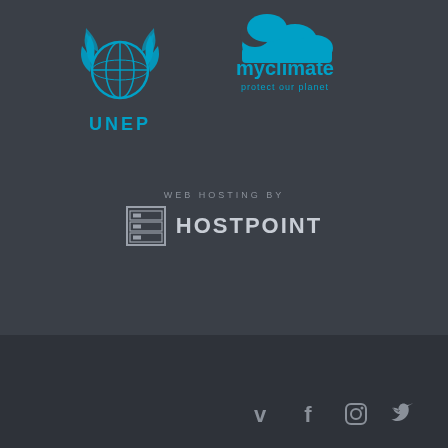[Figure (logo): UNEP (United Nations Environment Programme) logo with globe and laurel wreath emblem in teal/blue, with 'UNEP' text below]
[Figure (logo): myclimate logo with cloud icon in blue, text 'myclimate' and tagline 'protect our planet']
WEB HOSTING BY
[Figure (logo): Hostpoint logo with server rack icon and text 'HOSTPOINT']
[Figure (logo): Social media icons: Vimeo, Facebook, Instagram, Twitter in gray/white]